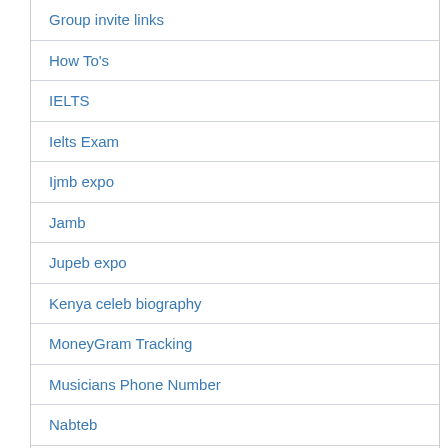Group invite links
How To's
IELTS
Ielts Exam
Ijmb expo
Jamb
Jupeb expo
Kenya celeb biography
MoneyGram Tracking
Musicians Phone Number
Nabteb
Naptex
Neco
Neco Bece
Neco Gce